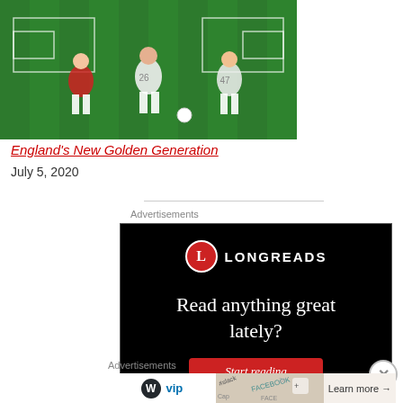[Figure (photo): Soccer/football players on a green pitch with white field markings, players in white uniforms]
England's New Golden Generation
July 5, 2020
Advertisements
[Figure (screenshot): Longreads advertisement banner on black background with logo, text 'Read anything great lately?' and 'Start reading' button]
Advertisements
[Figure (screenshot): WordPress VIP advertisement banner with colorful background and 'Learn more' button]